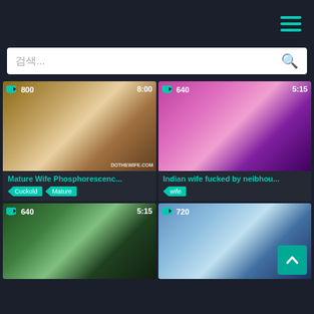Navigation menu (hamburger icon)
검색...
[Figure (screenshot): Thumbnail of Mature Wife video, 800 views, 8:00 duration]
Mature Wife Phosphorescenc...
Cuckold  Mature
[Figure (screenshot): Thumbnail of Indian wife video, 640 views, 5:15 duration]
Indian wife fucked by neibhou...
wife
[Figure (screenshot): Thumbnail of video, 640 views, 5:15 duration]
[Figure (screenshot): Thumbnail of video, 720 views]